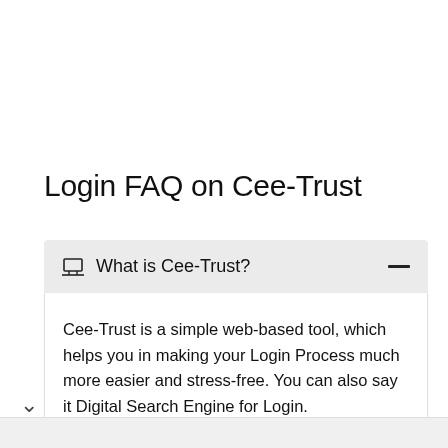Login FAQ on Cee-Trust
What is Cee-Trust?
Cee-Trust is a simple web-based tool, which helps you in making your Login Process much more easier and stress-free. You can also say it Digital Search Engine for Login.